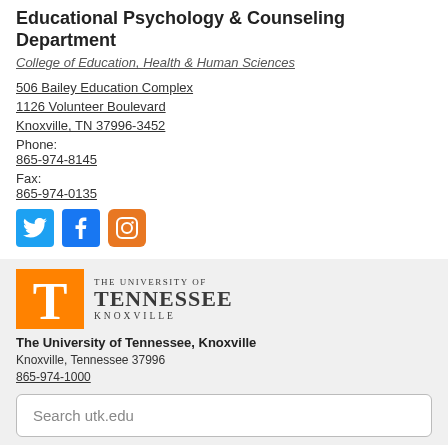Educational Psychology & Counseling Department
College of Education, Health & Human Sciences
506 Bailey Education Complex
1126 Volunteer Boulevard
Knoxville, TN 37996-3452
Phone: 865-974-8145
Fax: 865-974-0135
[Figure (infographic): Social media icons: Twitter (blue bird), Facebook (blue f), Instagram (orange camera)]
[Figure (logo): University of Tennessee Knoxville logo with orange T and wordmark]
The University of Tennessee, Knoxville
Knoxville, Tennessee 37996
865-974-1000
Search utk.edu